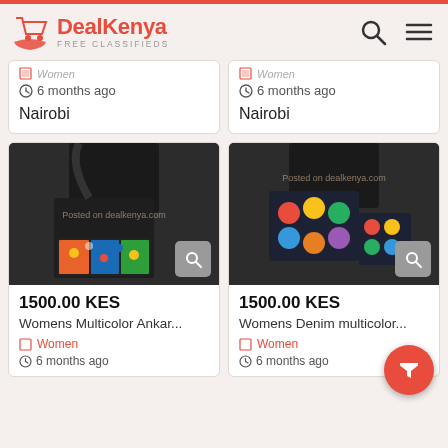DealKenya FREE CLASSIFIEDS
Women  6 months ago  Nairobi
Women  6 months ago  Nairobi
[Figure (photo): Womens Multicolor Ankara bag, person holding dark bag with colorful fabric pattern]
1500.00 KES
Womens Multicolor Ankar...
Women
6 months ago
[Figure (photo): Womens Denim multicolor bag, person holding dark denim bag with colorful polka dots]
1500.00 KES
Womens Denim multicolor...
Women
6 months ago